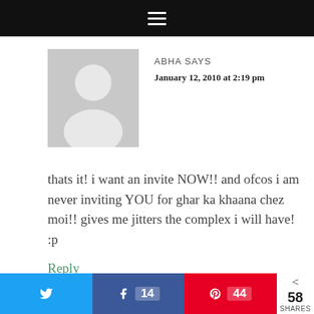≡
[Figure (illustration): Gray default avatar placeholder showing a silhouette of a person (head and shoulders) on a gray background]
ABHA SAYS
January 12, 2010 at 2:19 pm
thats it! i want an invite NOW!! and ofcos i am never inviting YOU for ghar ka khaana chez moi!! gives me jitters the complex i will have! :p
Reply
Twitter share button | Facebook 14 | Pinterest 44 | < 58 SHARES